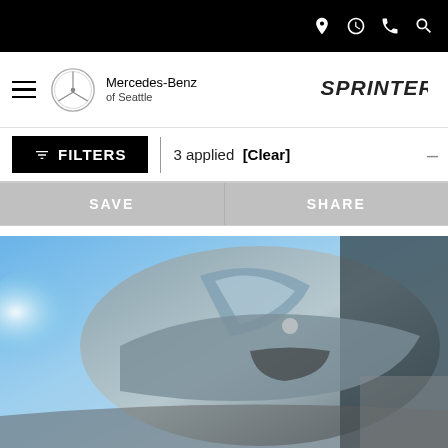Top navigation bar with location, clock, phone, and search icons
[Figure (logo): Mercedes-Benz of Seattle logo with star emblem and Sprinter logo on the right]
FILTERS | 3 applied [Clear]
SAVE | SHARE
[Figure (photo): Mercedes-Benz Sprinter van photographed from a low angle against a blue sky]